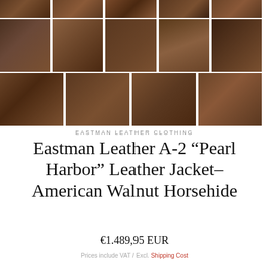[Figure (photo): Grid of product photos showing an Eastman Leather A-2 jacket in American Walnut Horsehide from multiple angles, including front, back, detail shots of pockets, cuffs, lining, and label]
EASTMAN LEATHER CLOTHING
Eastman Leather A-2 “Pearl Harbor” Leather Jacket–American Walnut Horsehide
€1.489,95 EUR
Prices include VAT / Excl. Shipping Cost